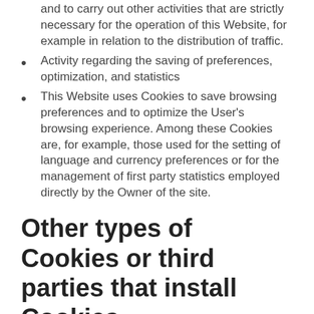and to carry out other activities that are strictly necessary for the operation of this Website, for example in relation to the distribution of traffic.
Activity regarding the saving of preferences, optimization, and statistics
This Website uses Cookies to save browsing preferences and to optimize the User's browsing experience. Among these Cookies are, for example, those used for the setting of language and currency preferences or for the management of first party statistics employed directly by the Owner of the site.
Other types of Cookies or third parties that install Cookies
Some of the services listed below collect statistics in an anonymized and aggregated form and may not require the consent of the User or may be managed directly by the Owner – depending on how they are described – without the help of third parties.
If some third-party services are listed below, they may also...